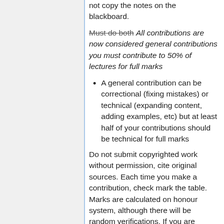not copy the notes on the blackboard.
Must do both All contributions are now considered general contributions you must contribute to 50% of lectures for full marks
A general contribution can be correctional (fixing mistakes) or technical (expanding content, adding examples, etc) but at least half of your contributions should be technical for full marks
Do not submit copyrighted work without permission, cite original sources. Each time you make a contribution, check mark the table. Marks are calculated on honour system, although there will be random verifications. If you are caught claiming to contribute but didn't, you will lose marks.